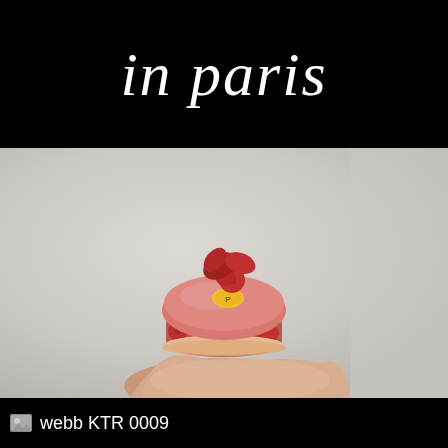in paris
[Figure (photo): A hand holding a pink raspberry macaron pastry decorated with fresh raspberries and a small yellow oval branded tag on top, against a light gray background]
webb KTR 0009